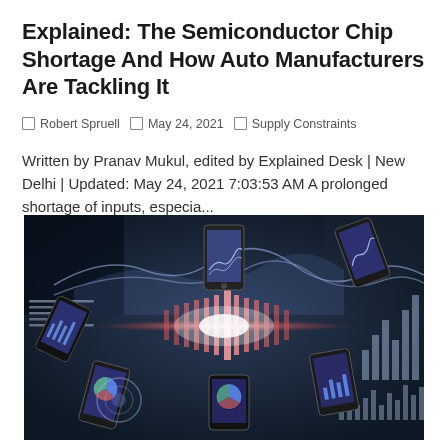Explained: The Semiconductor Chip Shortage And How Auto Manufacturers Are Tackling It
Robert Spruell  May 24, 2021  Supply Constraints
Written by Pranav Mukul, edited by Explained Desk | New Delhi | Updated: May 24, 2021 7:03:53 AM A prolonged shortage of inputs, especia...
[Figure (photo): Multiple hands holding smartphones with financial/data charts displayed on screens, arranged in a radial pattern around a glowing central light effect, overlaid with digital chart graphics including bar charts, line charts, and circular diagrams on a dark blue background.]